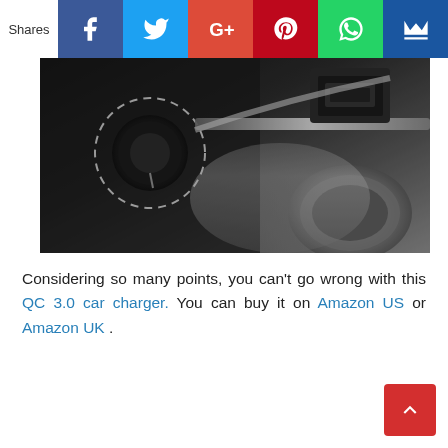[Figure (other): Social sharing bar with Facebook, Twitter, Google+, Pinterest, WhatsApp, and crown/bookmark icons]
[Figure (photo): Close-up photo of a car interior showing dashboard, cup holder, and charger port area in dark metallic tones]
Considering so many points, you can't go wrong with this QC 3.0 car charger. You can buy it on Amazon US or Amazon UK .